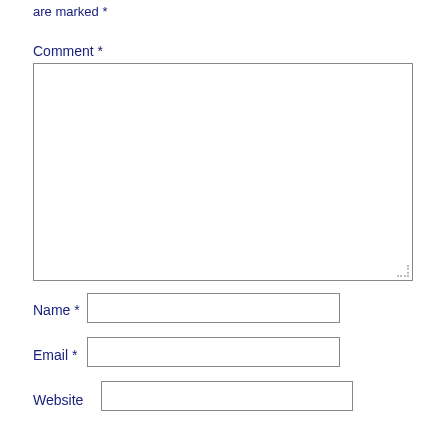are marked *
Comment *
[Figure (other): Large empty comment textarea with resize handle in bottom-right corner]
Name *
[Figure (other): Name input text field]
Email *
[Figure (other): Email input text field]
Website
[Figure (other): Website input text field]